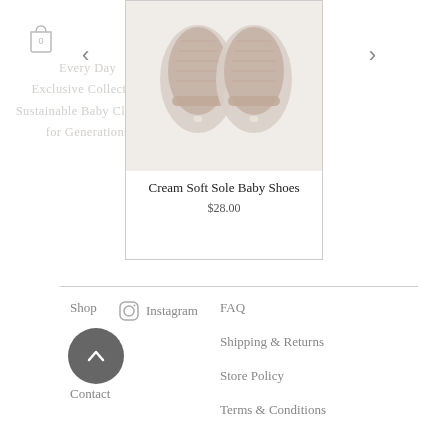[Figure (photo): Top-down view of cream soft sole baby shoes with beige/pink padded insoles, shown as a product card with border]
Cream Soft Sole Baby Shoes
$28.00
Every Day Exclusive Collection Sustainable Baby Clothing for Generations
Shop  Instagram  FAQ  About Us  Shipping & Returns  Contact  Store Policy  Terms & Conditions